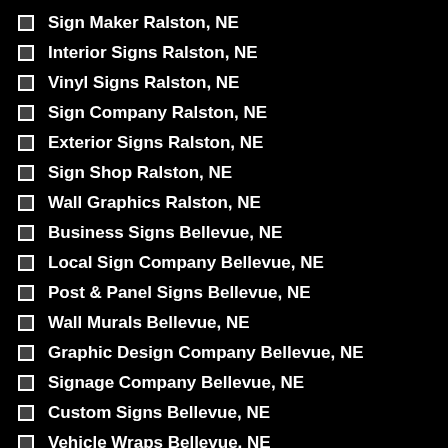Sign Maker Ralston, NE
Interior Signs Ralston, NE
Vinyl Signs Ralston, NE
Sign Company Ralston, NE
Exterior Signs Ralston, NE
Sign Shop Ralston, NE
Wall Graphics Ralston, NE
Business Signs Bellevue, NE
Local Sign Company Bellevue, NE
Post & Panel Signs Bellevue, NE
Wall Murals Bellevue, NE
Graphic Design Company Bellevue, NE
Signage Company Bellevue, NE
Custom Signs Bellevue, NE
Vehicle Wraps Bellevue, NE
Sign Company Near Bellevue, NE